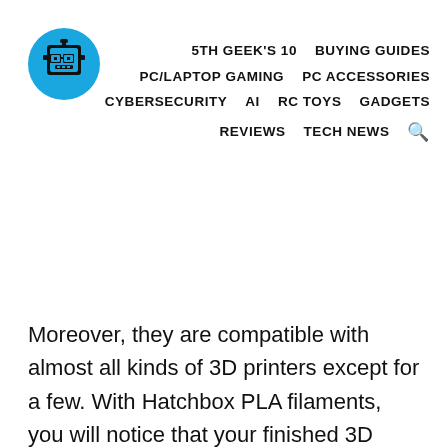[Figure (logo): Blue circle logo with pixelated robot/geek face wearing glasses]
5TH GEEK'S 10   BUYING GUIDES
PC/LAPTOP GAMING   PC ACCESSORIES
CYBERSECURITY   AI   RC TOYS   GADGETS
REVIEWS   TECH NEWS 🔍
Moreover, they are compatible with almost all kinds of 3D printers except for a few. With Hatchbox PLA filaments, you will notice that your finished 3D structures will have a glossy